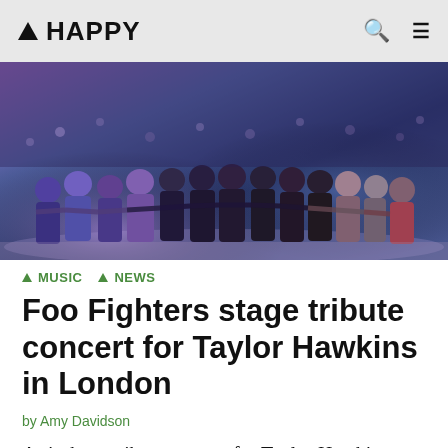▲ HAPPY
[Figure (photo): Group of people standing on stage with arms around each other, viewed from behind, facing a large crowd at a concert venue with purple and blue lighting.]
▲ MUSIC  ▲ NEWS
Foo Fighters stage tribute concert for Taylor Hawkins in London
by Amy Davidson
A six-hour tribute concert for Taylor Hawkins featured family, friends and the Foo Fighters at